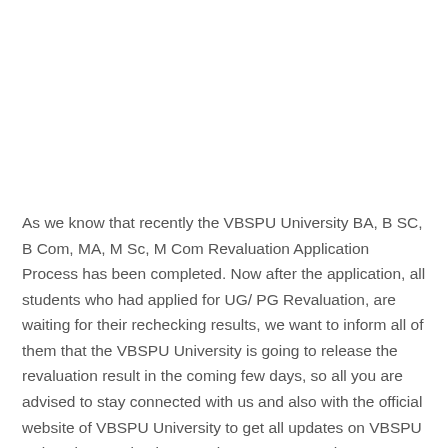As we know that recently the VBSPU University BA, B SC, B Com, MA, M Sc, M Com Revaluation Application Process has been completed. Now after the application, all students who had applied for UG/ PG Revaluation, are waiting for their rechecking results, we want to inform all of them that the VBSPU University is going to release the revaluation result in the coming few days, so all you are advised to stay connected with us and also with the official website of VBSPU University to get all updates on VBSPU University Revaluation Result 2022. Here we have provided much more information about the results like the latest updates, direct links,